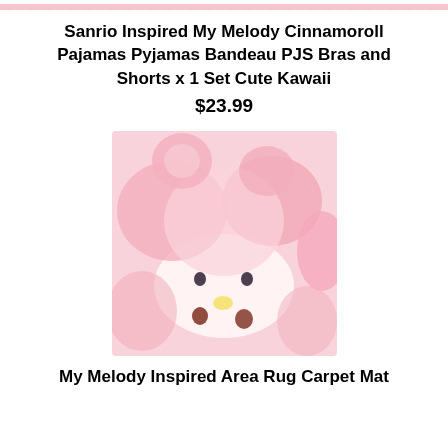[Figure (photo): Partial view of pink Sanrio pajamas product image at top of page]
Sanrio Inspired My Melody Cinnamoroll Pajamas Pyjamas Bandeau PJS Bras and Shorts x 1 Set Cute Kawaii
$23.99
[Figure (photo): Close-up product photo of a My Melody inspired pink area rug carpet mat showing a cute bunny/character face design with pink tones]
My Melody Inspired Area Rug Carpet Mat